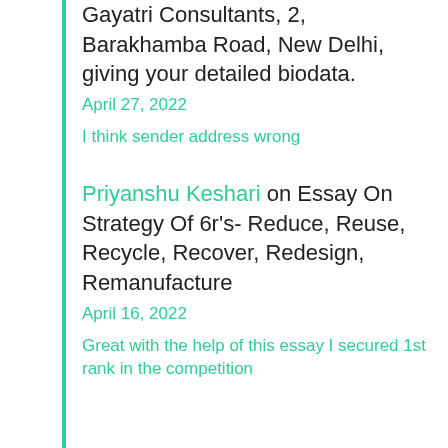Gayatri Consultants, 2, Barakhamba Road, New Delhi, giving your detailed biodata.
April 27, 2022
I think sender address wrong
Priyanshu Keshari on Essay On Strategy Of 6r's- Reduce, Reuse, Recycle, Recover, Redesign, Remanufacture
April 16, 2022
Great with the help of this essay I secured 1st rank in the competition
Nirupama on An Essay on Holi Festival in English
March 5, 2022